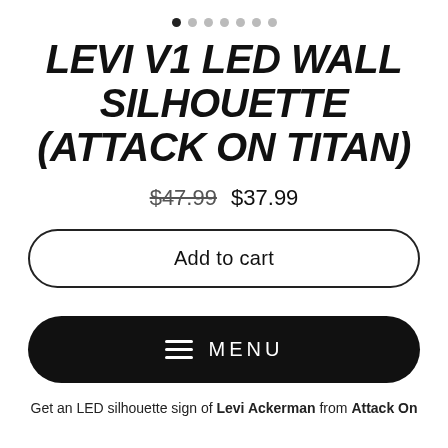[Figure (other): Carousel navigation dots, 7 dots with first dot filled/active]
LEVI V1 LED WALL SILHOUETTE (ATTACK ON TITAN)
$47.99  $37.99
Add to cart
MENU
Get an LED silhouette sign of Levi Ackerman from Attack On